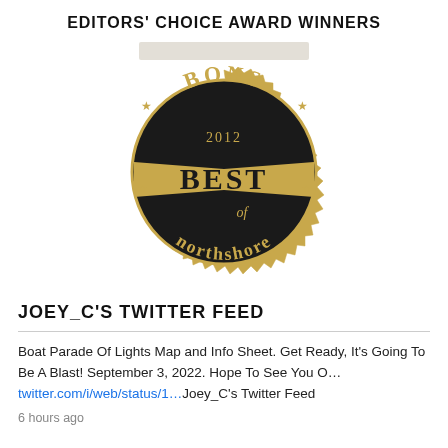EDITORS' CHOICE AWARD WINNERS
[Figure (illustration): A circular gold and black award seal badge reading 'BONS 2012 BEST of northshore' with decorative star details and a ribbon-style banner across the center.]
JOEY_C'S TWITTER FEED
Boat Parade Of Lights Map and Info Sheet. Get Ready, It’s Going To Be A Blast! September 3, 2022. Hope To See You O… twitter.com/i/web/status/1…Joey_C’s Twitter Feed
6 hours ago